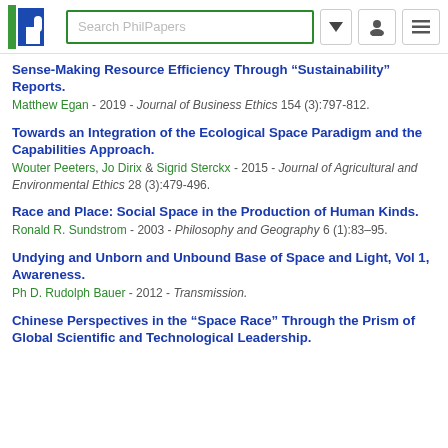[Figure (logo): PhilPapers logo with search bar and navigation icons]
Sense-Making Resource Efficiency Through “Sustainability” Reports. Matthew Egan - 2019 - Journal of Business Ethics 154 (3):797-812.
Towards an Integration of the Ecological Space Paradigm and the Capabilities Approach. Wouter Peeters, Jo Dirix & Sigrid Sterckx - 2015 - Journal of Agricultural and Environmental Ethics 28 (3):479-496.
Race and Place: Social Space in the Production of Human Kinds. Ronald R. Sundstrom - 2003 - Philosophy and Geography 6 (1):83–95.
Undying and Unborn and Unbound Base of Space and Light, Vol 1, Awareness. Ph D. Rudolph Bauer - 2012 - Transmission.
Chinese Perspectives in the “Space Race” Through the Prism of Global Scientific and Technological Leadership.